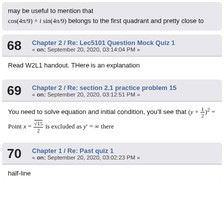may be useful to mention that cos(4π/9) + i sin(4π/9) belongs to the first quadrant and pretty close to
68  Chapter 2 / Re: Lec5101 Question Mock Quiz 1  « on: September 20, 2020, 03:14:04 PM »
Read W2L1 handout. THere is an explanation
69  Chapter 2 / Re: section 2.1 practice problem 15  « on: September 20, 2020, 03:12:51 PM »
You need to solve equation and initial condition, you'll see that (y + 1/2)^2 =
Point x = √15/2 is excluded as y' = ∞ there
70  Chapter 1 / Re: Past quiz 1  « on: September 20, 2020, 03:02:23 PM »
half-line